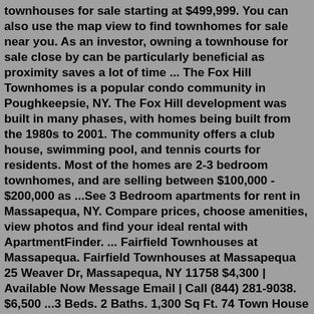townhouses for sale starting at $499,999. You can also use the map view to find townhomes for sale near you. As an investor, owning a townhouse for sale close by can be particularly beneficial as proximity saves a lot of time ... The Fox Hill Townhomes is a popular condo community in Poughkeepsie, NY. The Fox Hill development was built in many phases, with homes being built from the 1980s to 2001. The community offers a club house, swimming pool, and tennis courts for residents. Most of the homes are 2-3 bedroom townhomes, and are selling between $100,000 - $200,000 as ...See 3 Bedroom apartments for rent in Massapequa, NY. Compare prices, choose amenities, view photos and find your ideal rental with ApartmentFinder. ... Fairfield Townhouses at Massapequa. Fairfield Townhouses at Massapequa 25 Weaver Dr, Massapequa, NY 11758 $4,300 | Available Now Message Email | Call (844) 281-9038. $6,500 ...3 Beds. 2 Baths. 1,300 Sq Ft. 74 Town House Dr, Massapequa Park, NY 11762. Beautiful condo in a lovely community featuring 3 bedrooms, and 1.5